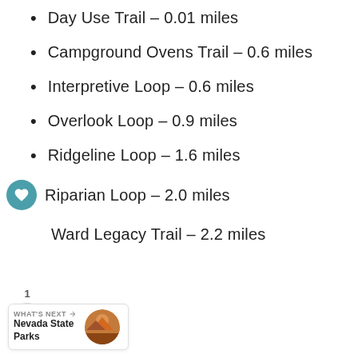Day Use Trail – 0.01 miles
Campground Ovens Trail – 0.6 miles
Interpretive Loop – 0.6 miles
Overlook Loop – 0.9 miles
Ridgeline Loop – 1.6 miles
Riparian Loop – 2.0 miles
Ward Legacy Trail – 2.2 miles
WHAT'S NEXT → Nevada State Parks